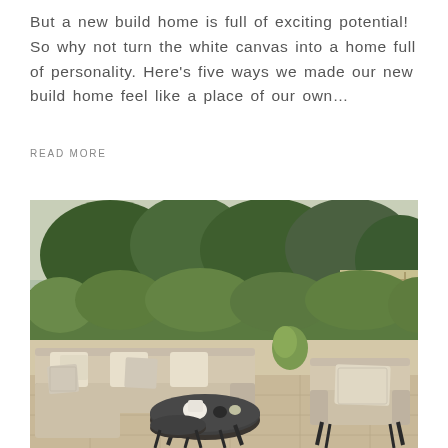But a new build home is full of exciting potential! So why not turn the white canvas into a home full of personality. Here's five ways we made our new build home feel like a place of our own…
READ MORE
[Figure (photo): Outdoor garden furniture set on a stone patio with green hedges and trees in the background. The set includes a large L-shaped sofa with beige/cream cushions and patterned throw pillows, a round dark coffee table, and a matching armchair.]